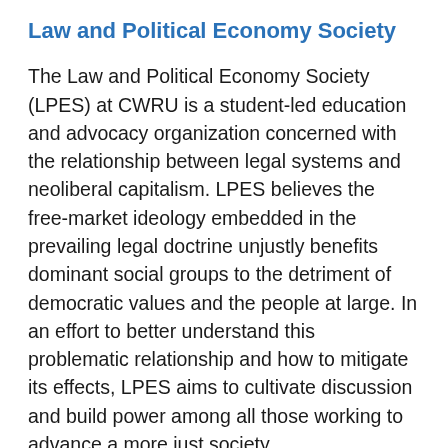Law and Political Economy Society
The Law and Political Economy Society (LPES) at CWRU is a student-led education and advocacy organization concerned with the relationship between legal systems and neoliberal capitalism. LPES believes the free-market ideology embedded in the prevailing legal doctrine unjustly benefits dominant social groups to the detriment of democratic values and the people at large. In an effort to better understand this problematic relationship and how to mitigate its effects, LPES aims to cultivate discussion and build power among all those working to advance a more just society.
Social Justice Law Center News